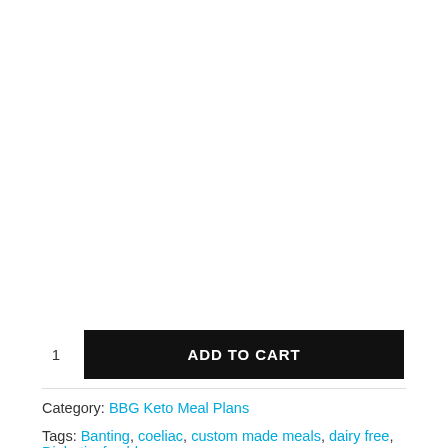1
ADD TO CART
Category: BBG Keto Meal Plans
Tags: Banting, coeliac, custom made meals, dairy free, Diabetic, freshly,